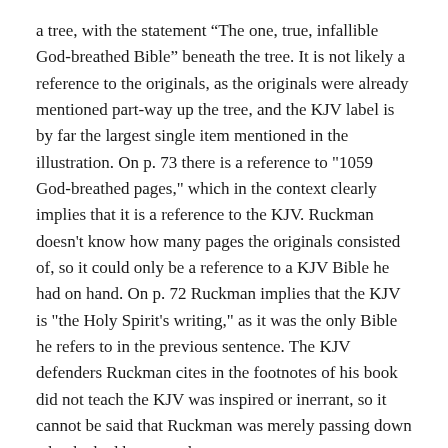a tree, with the statement “The one, true, infallible God-breathed Bible” beneath the tree. It is not likely a reference to the originals, as the originals were already mentioned part-way up the tree, and the KJV label is by far the largest single item mentioned in the illustration. On p. 73 there is a reference to "1059 God-breathed pages," which in the context clearly implies that it is a reference to the KJV. Ruckman doesn't know how many pages the originals consisted of, so it could only be a reference to a KJV Bible he had on hand. On p. 72 Ruckman implies that the KJV is "the Holy Spirit's writing," as it was the only Bible he refers to in the previous sentence. The KJV defenders Ruckman cites in the footnotes of his book did not teach the KJV was inspired or inerrant, so it cannot be said that Ruckman was merely passing down what he had been taught.
It should also be mentioned that in the 1960's Ruckman began to publish his Bible Believer's Commentary Series. It's primary purpose was to defend the infallibility of every word of the KJV, something which had never been done before in a Bible commentary series.
1967